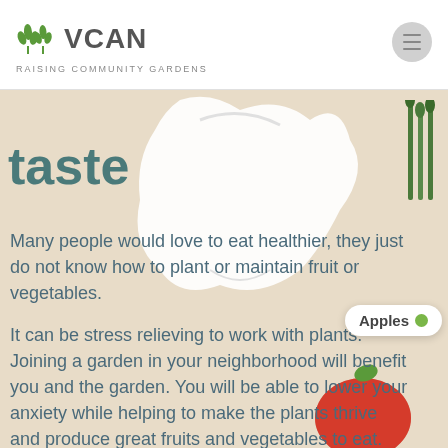[Figure (logo): VCAN logo with green wheat/plant icons and text 'VCAN' with tagline 'RAISING COMMUNITY GARDENS']
taste
[Figure (photo): Background photo of a beige/cream surface with a white mesh produce bag, asparagus, and a red apple visible. Overlay shows an 'Apples' label bubble with green dot.]
Many people would love to eat healthier, they just do not know how to plant or maintain fruit or vegetables.
It can be stress relieving to work with plants. Joining a garden in your neighborhood will benefit you and the garden. You will be able to lower your anxiety while helping to make the plants thrive and produce great fruits and vegetables to eat. There are a variety of projects you can join.